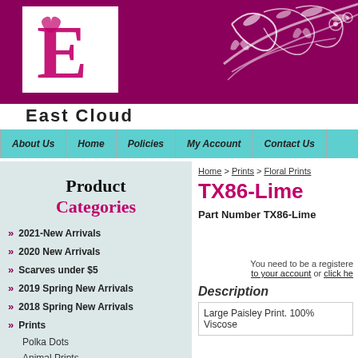[Figure (logo): East Cloud logo with stylized E letter on white background, pink/magenta decorative swirls and floral design on dark magenta header banner]
East Cloud
About Us | Home | Policies | My Account | Contact Us
Product Categories
2021-New Arrivals
2020 New Arrivals
Scarves under $5
2019 Spring New Arrivals
2018 Spring New Arrivals
Prints
Polka Dots
Animal Prints
Floral Prints
Home > Prints > Floral Prints
TX86-Lime
Part Number TX86-Lime
You need to be a registered customer to log in to your account or click he
Description
Large Paisley Print. 100% Viscose